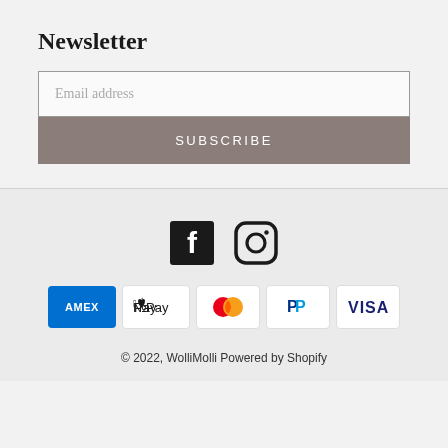Newsletter
Email address
SUBSCRIBE
[Figure (logo): Facebook and Instagram social media icons]
[Figure (logo): Payment method icons: American Express, Apple Pay, Mastercard, PayPal, Visa]
© 2022, WolliMolli Powered by Shopify